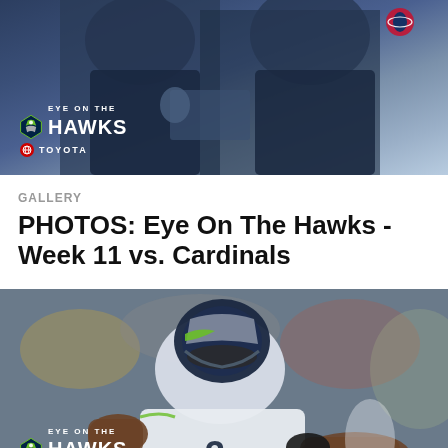[Figure (photo): Eye On The Hawks - Week 11 vs. Cardinals top photo showing coaches/staff in dark navy uniforms with Eye On The Hawks Toyota branding overlay]
GALLERY
PHOTOS: Eye On The Hawks - Week 11 vs. Cardinals
[Figure (photo): Seattle Seahawks player in white uniform with green accents and helmet, extending arm with football, with Eye On The Hawks Toyota branding overlay]